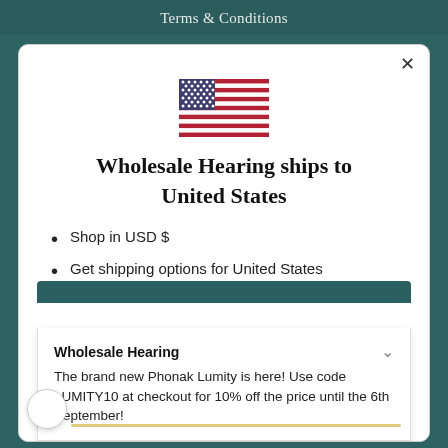Terms & Conditions
[Figure (illustration): US flag emoji/illustration centered in modal]
Wholesale Hearing ships to United States
Shop in USD $
Get shipping options for United States
Wholesale Hearing
The brand new Phonak Lumity is here! Use code LUMITY10 at checkout for 10% off the price until the 6th September!